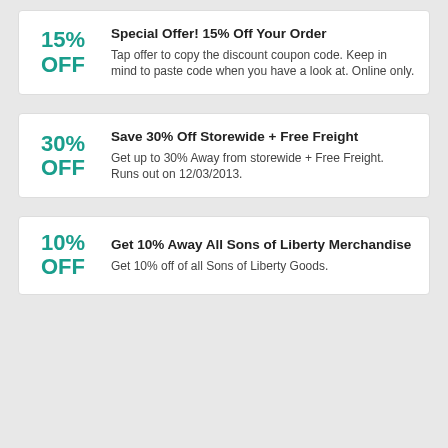Special Offer! 15% Off Your Order
Tap offer to copy the discount coupon code. Keep in mind to paste code when you have a look at. Online only.
Save 30% Off Storewide + Free Freight
Get up to 30% Away from storewide + Free Freight. Runs out on 12/03/2013.
Get 10% Away All Sons of Liberty Merchandise
Get 10% off of all Sons of Liberty Goods.